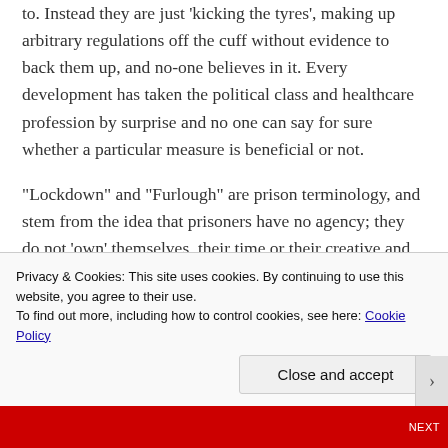to. Instead they are just 'kicking the tyres', making up arbitrary regulations off the cuff without evidence to back them up, and no-one believes in it. Every development has taken the political class and healthcare profession by surprise and no one can say for sure whether a particular measure is beneficial or not.
“Lockdown” and “Furlough” are prison terminology, and stem from the idea that prisoners have no agency; they do not ‘own’ themselves, their time or their creative and
Privacy & Cookies: This site uses cookies. By continuing to use this website, you agree to their use.
To find out more, including how to control cookies, see here: Cookie Policy